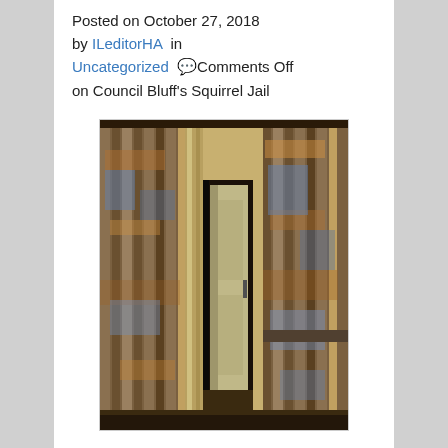Posted on October 27, 2018
by ILeditorHA in
Uncategorized 💬Comments Off on Council Bluff's Squirrel Jail
[Figure (photo): Interior view of an old rusted corrugated metal jail or storage structure with an open door revealing a narrow corridor inside.]